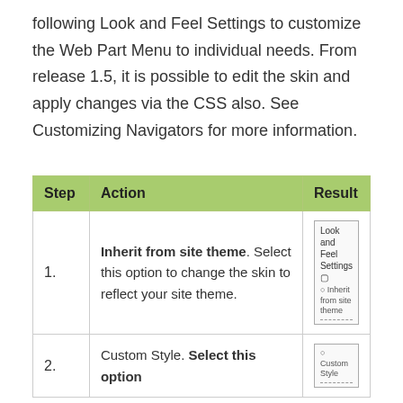following Look and Feel Settings to customize the Web Part Menu to individual needs. From release 1.5, it is possible to edit the skin and apply changes via the CSS also. See Customizing Navigators for more information.
| Step | Action | Result |
| --- | --- | --- |
| 1. | Inherit from site theme. Select this option to change the skin to reflect your site theme. | [screenshot: Look and Feel Settings - Inherit from site theme checkbox] |
| 2. | Custom Style. Select this option | [screenshot: Custom Style option] |